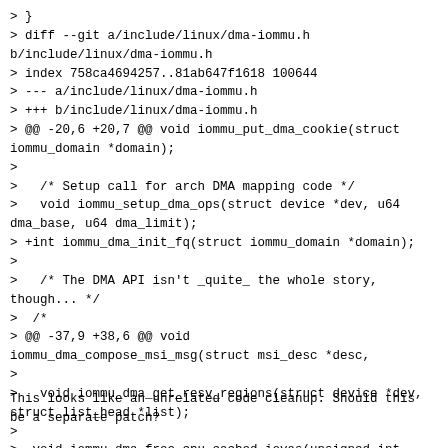> }
> diff --git a/include/linux/dma-iommu.h b/include/linux/dma-iommu.h
> index 758ca4694257..81ab647f1618 100644
> --- a/include/linux/dma-iommu.h
> +++ b/include/linux/dma-iommu.h
> @@ -20,6 +20,7 @@ void iommu_put_dma_cookie(struct iommu_domain *domain);
>
>   /* Setup call for arch DMA mapping code */
>   void iommu_setup_dma_ops(struct device *dev, u64 dma_base, u64 dma_limit);
> +int iommu_dma_init_fq(struct iommu_domain *domain);
>
>   /* The DMA API isn't _quite_ the whole story, though... */
>  /*
> @@ -37,9 +38,6 @@ void iommu_dma_compose_msi_msg(struct msi_desc *desc,
>>
>   void iommu_dma_get_resv_regions(struct device *dev, struct list_head *list);
>>
> -void iommu_dma_free_cpu_cached_iovas(unsigned int cpu,
> -               struct iommu_domain *domain);
> -
This looks like an unrelated code cleanup. Should this be a separate patch?